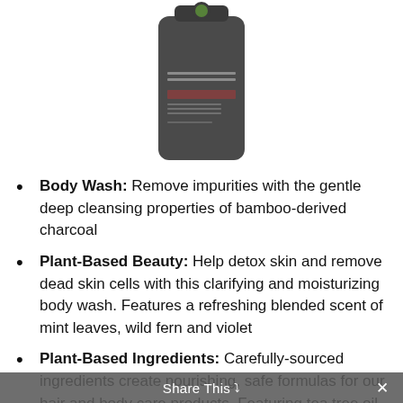[Figure (photo): Dark gray cylindrical body wash/shampoo bottle with a green circular logo on top and label text, partially cropped at top of page]
Body Wash: Remove impurities with the gentle deep cleansing properties of bamboo-derived charcoal
Plant-Based Beauty: Help detox skin and remove dead skin cells with this clarifying and moisturizing body wash. Features a refreshing blended scent of mint leaves, wild fern and violet
Plant-Based Ingredients: Carefully-sourced ingredients create nourishing, safe formulas for our hair and body care products. Featuring tea tree oil, coconut, mint, argan, manuka honey, lemon sage and bamboo